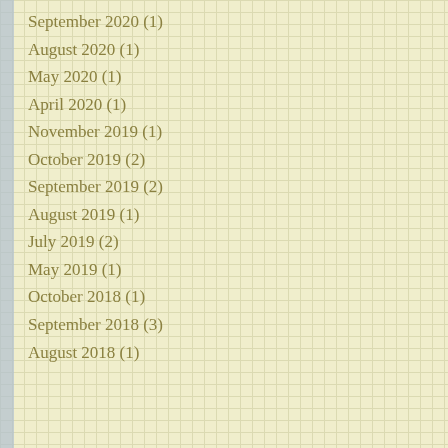September 2020 (1)
August 2020 (1)
May 2020 (1)
April 2020 (1)
November 2019 (1)
October 2019 (2)
September 2019 (2)
August 2019 (1)
July 2019 (2)
May 2019 (1)
October 2018 (1)
September 2018 (3)
August 2018 (1)